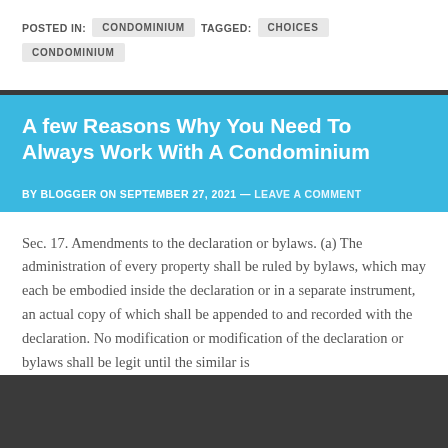POSTED IN: CONDOMINIUM   TAGGED: CHOICES   CONDOMINIUM
A few Reasons Why You Need To Always Work With A Condominium
BY BLOGGER ON SEPTEMBER 27, 2021 — LEAVE A COMMENT
Sec. 17. Amendments to the declaration or bylaws. (a) The administration of every property shall be ruled by bylaws, which may each be embodied inside the declaration or in a separate instrument, an actual copy of which shall be appended to and recorded with the declaration. No modification or modification of the declaration or bylaws shall be legit until the similar is